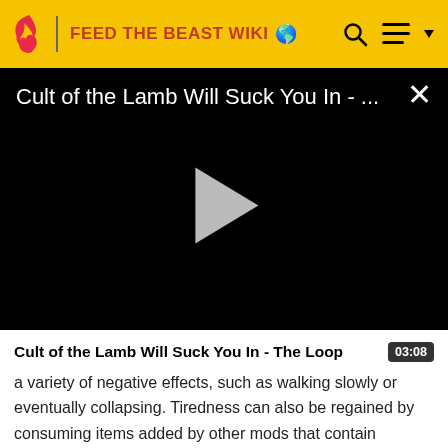FEED THE BEAST WIKI
[Figure (screenshot): Video player with black background showing title 'Cult of the Lamb Will Suck You In - ...' and a gray play button triangle in the center, with an X close button in the top right corner]
Cult of the Lamb Will Suck You In - The Loop  03:08
a variety of negative effects, such as walking slowly or eventually collapsing. Tiredness can also be regained by consuming items added by other mods that contain caffeine, like Steamcraft2's Tea.